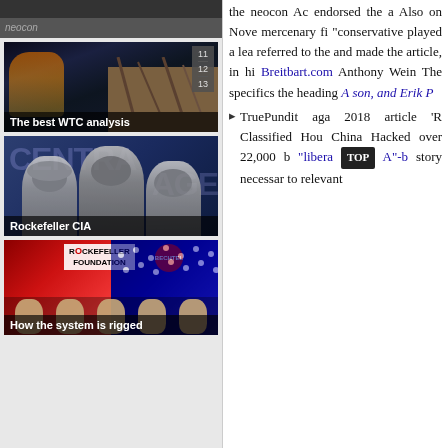[Figure (screenshot): Left sidebar with three thumbnail images: 'The best WTC analysis', 'Rockefeller CIA', and 'How the system is rigged', with a 'neocon' label at top]
the neocon Ac endorsed the a Also on Nove mercenary fi "conservative played a lea referred to the and made the article, in hi Breitbart.com Anthony Wein The specifics the heading A son, and Erik P
TruePundit aga 2018 article 'R Classified Hou China Hacked over 22,000 b "libera A"-b story necessar to relevant